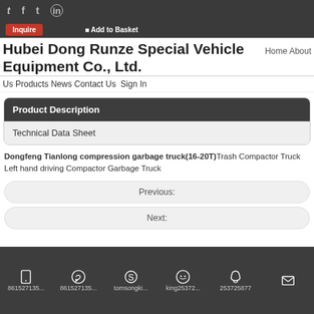t f tw in | Inquire | Add to Basket
Hubei Dong Runze Special Vehicle Equipment Co., Ltd.
Home About
Us Products News Contact Us Sign In
Product Description
Technical Data Sheet
Dongfeng Tianlong compression garbage truck(16-20T) Trash Compactor Truck Left hand driving Compactor Garbage Truck
Previous:
Next:
861527135... | 861527135... | tomsongki... | king25372... | 253725877 | (email icon)